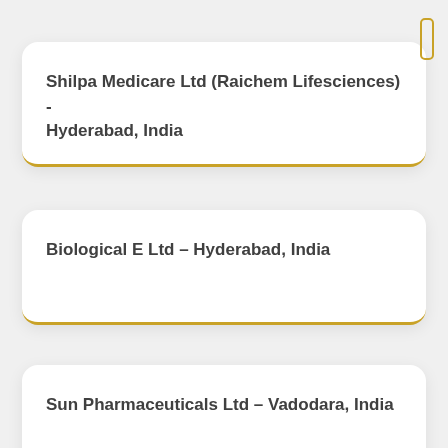Shilpa Medicare Ltd (Raichem Lifesciences) - Hyderabad, India
Biological E Ltd - Hyderabad, India
Sun Pharmaceuticals Ltd - Vadodara, India